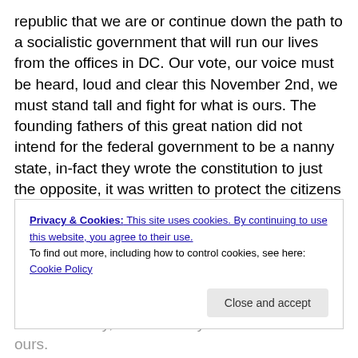republic that we are or continue down the path to a socialistic government that will run our lives from the offices in DC. Our vote, our voice must be heard, loud and clear this November 2nd, we must stand tall and fight for what is ours. The founding fathers of this great nation did not intend for the federal government to be a nanny state, in-fact they wrote the constitution to just the opposite, it was written to protect the citizens of this great land, not to empower the federal government. The current political power players seem to have forgotten this, the supreme
Privacy & Cookies: This site uses cookies. By continuing to use this website, you agree to their use. To find out more, including how to control cookies, see here: Cookie Policy
Close and accept
American way, we are ready to take back what is ours.